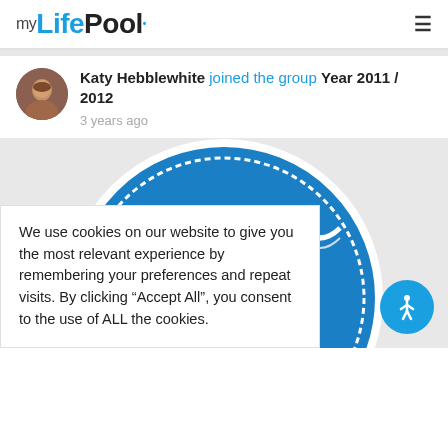myLifePool
Katy Hebblewhite joined the group Year 2011 / 2012
3 years ago
[Figure (illustration): A circular blue badge/seal with text 'BIRTH YEAR OF' visible along the curved top, white wavy decorative border inside the circle. Partially visible at bottom.]
We use cookies on our website to give you the most relevant experience by remembering your preferences and repeat visits. By clicking "Accept All", you consent to the use of ALL the cookies.